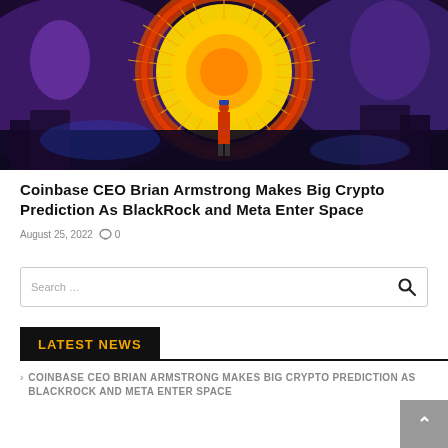[Figure (illustration): Digital artwork showing a silhouetted figure in a red jacket standing before a large glowing golden/orange circular portal or sun-like object, surrounded by purple and blue sci-fi machinery and lights]
Coinbase CEO Brian Armstrong Makes Big Crypto Prediction As BlackRock and Meta Enter Space
August 25, 2022   💬 0
Search …
LATEST NEWS
COINBASE CEO BRIAN ARMSTRONG MAKES BIG CRYPTO PREDICTION AS BLACKROCK AND META ENTER SPACE